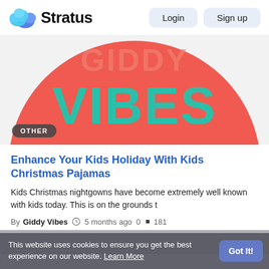Stratus  Login  Sign up
[Figure (illustration): Red circular background with teal text reading VIBES, with an OTHER badge overlay in the bottom left]
Enhance Your Kids Holiday With Kids Christmas Pajamas
Kids Christmas nightgowns have become extremely well known with kids today. This is on the grounds t
By Giddy Vibes  5 months ago  0  181
This website uses cookies to ensure you get the best experience on our website. Learn More  Got It!